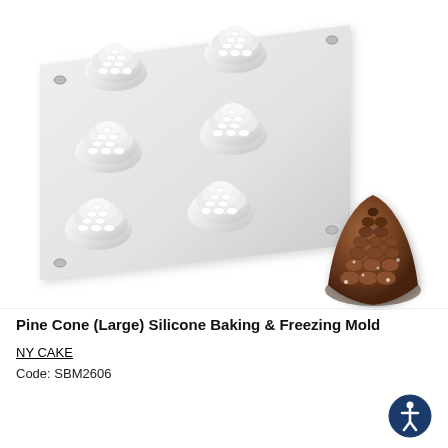[Figure (photo): White silicone baking mold with 6 pine cone shaped cavities arranged in a 2x3 grid, shown at an angle. Next to it is a chocolate pine cone shaped cake dusted with powdered sugar.]
Pine Cone (Large) Silicone Baking & Freezing Mold
NY CAKE
Code: SBM2606